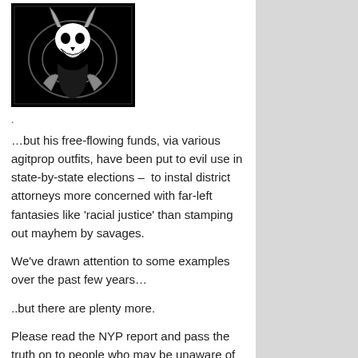[Figure (illustration): Black and white illustration showing a dark figure or skull-like image against a black background with circular elements.]
.
…but his free-flowing funds, via various agitprop outfits, have been put to evil use in state-by-state elections –  to instal district attorneys more concerned with far-left fantasies like 'racial justice' than stamping out mayhem by savages.
We've drawn attention to some examples over the past few years…
..but there are plenty more.
Please read the NYP report and pass the truth on to people who may be unaware of what Soros has done.. and is still doing.
And if you're not American, don't skip this!
.